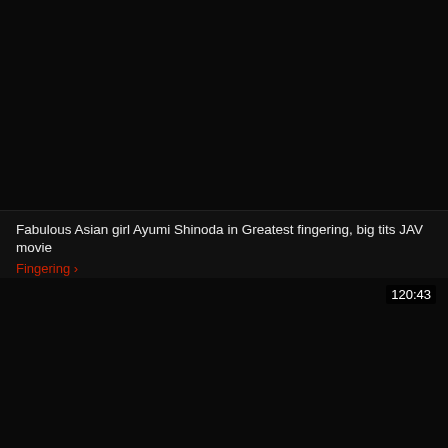[Figure (screenshot): Dark/black video thumbnail placeholder in top section]
Fabulous Asian girl Ayumi Shinoda in Greatest fingering, big tits JAV movie
Fingering ›
[Figure (screenshot): Dark/black video thumbnail placeholder in bottom section with duration overlay 120:43]
120:43